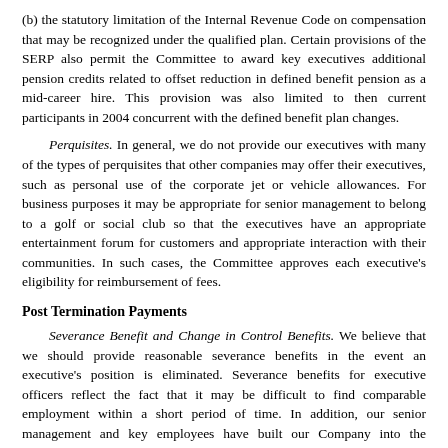(b) the statutory limitation of the Internal Revenue Code on compensation that may be recognized under the qualified plan. Certain provisions of the SERP also permit the Committee to award key executives additional pension credits related to offset reduction in defined benefit pension as a mid-career hire. This provision was also limited to then current participants in 2004 concurrent with the defined benefit plan changes.
Perquisites. In general, we do not provide our executives with many of the types of perquisites that other companies may offer their executives, such as personal use of the corporate jet or vehicle allowances. For business purposes it may be appropriate for senior management to belong to a golf or social club so that the executives have an appropriate entertainment forum for customers and appropriate interaction with their communities. In such cases, the Committee approves each executive's eligibility for reimbursement of fees.
Post Termination Payments
Severance Benefit and Change in Control Benefits. We believe that we should provide reasonable severance benefits in the event an executive's position is eliminated. Severance benefits for executive officers reflect the fact that it may be difficult to find comparable employment within a short period of time. In addition, our senior management and key employees have built our Company into the successful enterprise that it is today, and we believe it is important to provide reasonable protection for them in the event of a change in control and potential loss of employment. It is our belief that the interests of shareholders will be best served if the interests of our senior management are aligned by virtue of this protection. We also believe our arrangement facilitates the recruitment of talented executives by providing protections in the event we are acquired. We believe relative to the overall value of any potential transaction, these potential post-